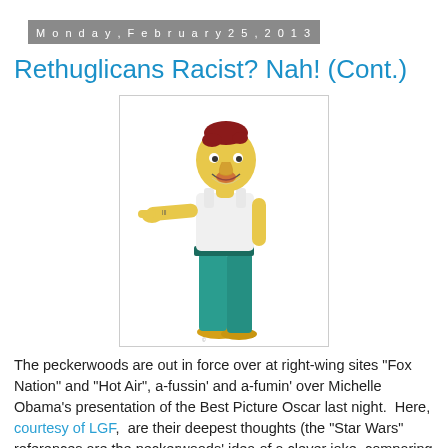Monday, February 25, 2013
Rethuglicans Racist? Nah! (Cont.)
[Figure (illustration): A Simpsons-style cartoon character: a tall, thin yellow-skinned male figure with red hair, wearing a white sleeveless undershirt and teal/blue pants with yellow shoes, pointing to the left with tattoos on arm, mouth open.]
The peckerwoods are out in force over at right-wing sites "Fox Nation" and "Hot Air", a-fussin' and a-fumin' over Michelle Obama's presentation of the Best Picture Oscar last night.  Here, courtesy of LGF,  are their deepest thoughts (the "Star Wars" references are the peckerwoods' idea of a clever joke, comparing the First Lady to a Wookie):